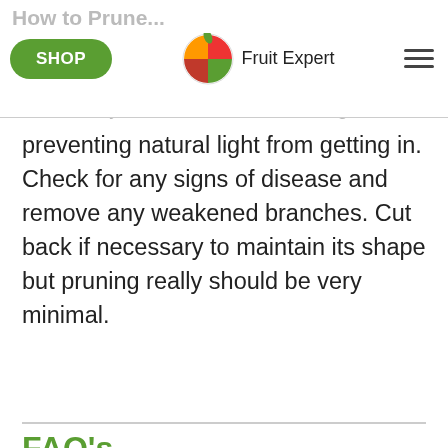How to Prune — SHOP | Fruit Expert | [menu]
preventing natural light from getting in. Check for any signs of disease and remove any weakened branches. Cut back if necessary to maintain its shape but pruning really should be very minimal.
FAQ's
Can you grow dwarf nectarine trees in containers?
Dwarf nectarine trees make an ideal option for small gardens as they grow well in